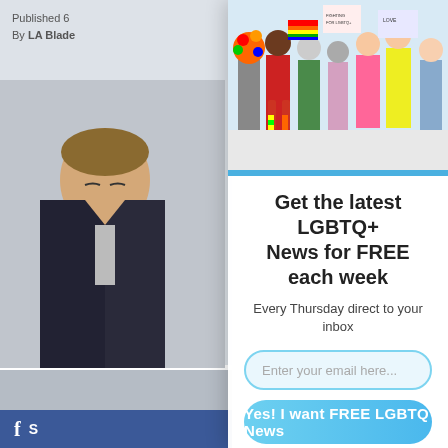Published 6...
By LA Blade...
[Figure (photo): Group of LGBTQ+ people holding pride flags and signs]
[Figure (photo): Person (Senator Scott...) looking downward, wearing dark blazer]
Senator Scot...
SACRAMEN... Francisco) ... Health Care... of 31-8. It w...
Get the latest LGBTQ+ News for FREE each week
Every Thursday direct to your inbox
Enter your email here...
Yes! I want FREE LGBTQ News
f S...